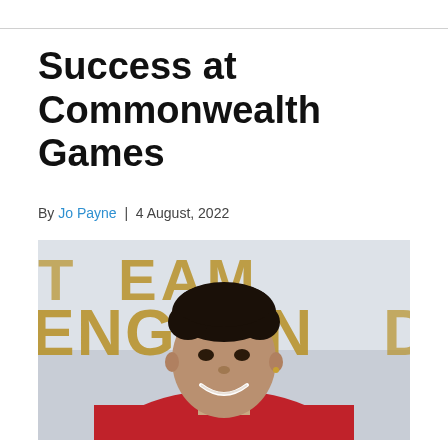Success at Commonwealth Games
By Jo Payne | 4 August, 2022
[Figure (photo): A young man smiling in front of a 'Team England' banner, wearing a red top. The Team England logo text is visible in gold letters on a white background behind him.]